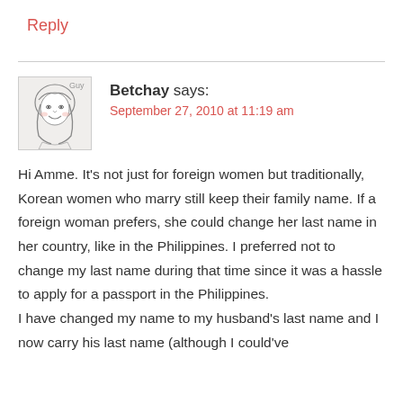Reply
[Figure (illustration): Hand-drawn cartoon avatar of a woman with long hair, smiling, labeled 'Guy' in top right corner]
Betchay says:
September 27, 2010 at 11:19 am
Hi Amme. It's not just for foreign women but traditionally, Korean women who marry still keep their family name. If a foreign woman prefers, she could change her last name in her country, like in the Philippines. I preferred not to change my last name during that time since it was a hassle to apply for a passport in the Philippines.
I have changed my name to my husband's last name and I now carry his last name (although I could've